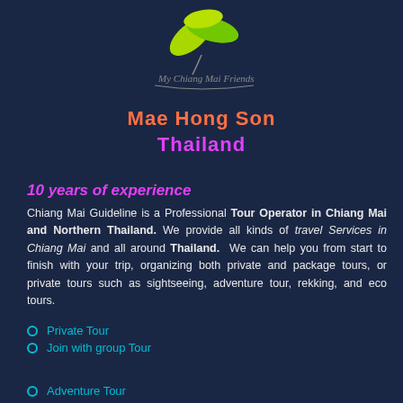[Figure (logo): Green leaf logo with cursive text 'My Chiang Mai Friends' underneath]
Mae Hong Son
Thailand
10 years of experience
Chiang Mai Guideline is a Professional Tour Operator in Chiang Mai and Northern Thailand. We provide all kinds of travel Services in Chiang Mai and all around Thailand. We can help you from start to finish with your trip, organizing both private and package tours, or private tours such as sightseeing, adventure tour, rekking, and eco tours.
Private Tour
Join with group Tour
Adventure Tour